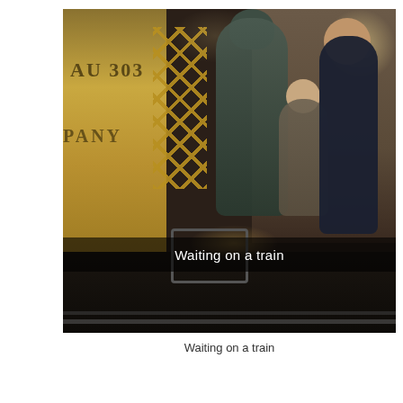[Figure (photo): Indoor scene at what appears to be a museum or exhibition. A vintage yellow tram car on the left with 'AU 303' and 'PANY' text visible. Two life-size statues — a tall figure in a long coat and hat, and a smaller child-like figure — stand near the tram. A real person (man in dark shirt) stands nearby observing. Low ambient lighting with a spotlight on the floor. A metal cart/trolley is visible in the foreground. Text overlay reads 'Waiting on a train'.]
Waiting on a train